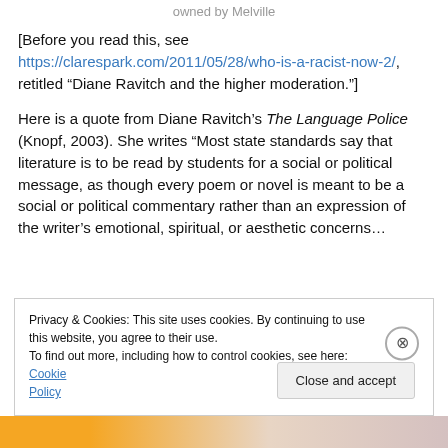owned by Melville
[Before you read this, see https://clarespark.com/2011/05/28/who-is-a-racist-now-2/, retitled “Diane Ravitch and the higher moderation.”]
Here is a quote from Diane Ravitch’s The Language Police (Knopf, 2003). She writes “Most state standards say that literature is to be read by students for a social or political message, as though every poem or novel is meant to be a social or political commentary rather than an expression of the writer’s emotional, spiritual, or aesthetic concerns…
Privacy & Cookies: This site uses cookies. By continuing to use this website, you agree to their use. To find out more, including how to control cookies, see here: Cookie Policy